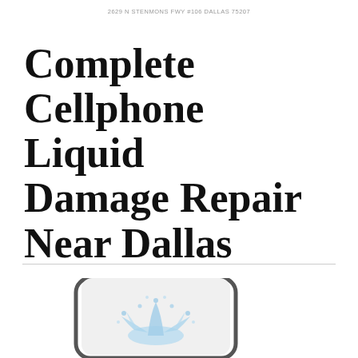2629 N STENMONS FWY #106 DALLAS 75207
Complete Cellphone Liquid Damage Repair Near Dallas
[Figure (illustration): Bottom portion of a smartphone with a water splash graphic inside the screen area, suggesting liquid damage repair service.]